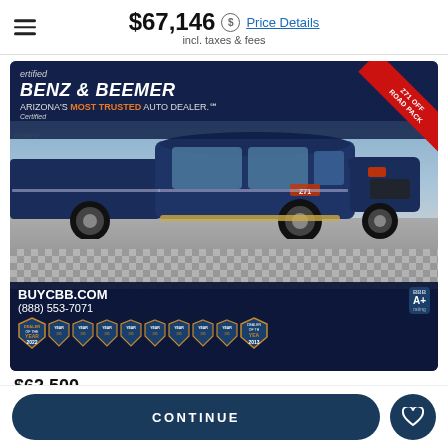$67,146 incl. taxes & fees — Price Details
[Figure (photo): Blue Chevrolet Silverado Z71 truck at Benz & Beemer dealership with dealer branding overlay, BBB A+ rating, dealer of the year shields, BUYCBB.COM contact info, and Z71 Off Road Package red ribbon corner badge]
$62,500
CONTINUE